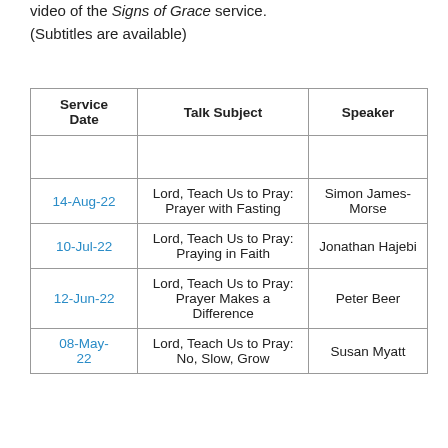video of the Signs of Grace service. (Subtitles are available)
| Service Date | Talk Subject | Speaker |
| --- | --- | --- |
|  |  |  |
| 14-Aug-22 | Lord, Teach Us to Pray: Prayer with Fasting | Simon James-Morse |
| 10-Jul-22 | Lord, Teach Us to Pray: Praying in Faith | Jonathan Hajebi |
| 12-Jun-22 | Lord, Teach Us to Pray: Prayer Makes a Difference | Peter Beer |
| 08-May-22 | Lord, Teach Us to Pray: No, Slow, Grow | Susan Myatt |